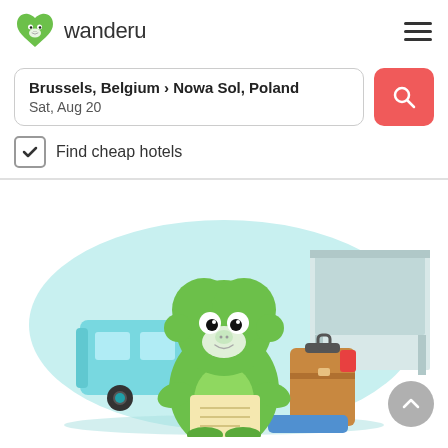wanderu
Brussels, Belgium › Nowa Sol, Poland
Sat, Aug 20
Find cheap hotels
[Figure (illustration): Wanderu mascot illustration: a green monkey character holding a map and luggage, standing in front of a light blue bus at a transit station, set against a light cyan oval background. A gray scroll-to-top button appears in the bottom right.]